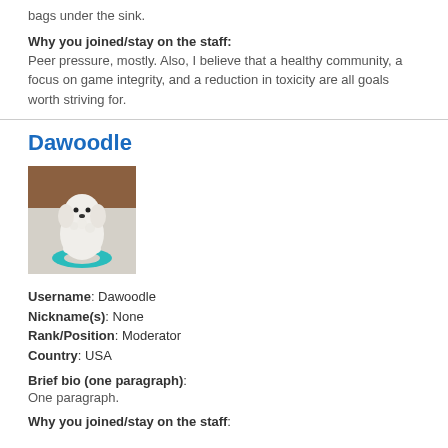bags under the sink.
Why you joined/stay on the staff:
Peer pressure, mostly. Also, I believe that a healthy community, a focus on game integrity, and a reduction in toxicity are all goals worth striving for.
Dawoodle
[Figure (photo): A white fluffy dog (poodle mix) sitting on a teal ring-shaped toy on a light carpet, with brown furniture in the background.]
Username: Dawoodle
Nickname(s): None
Rank/Position: Moderator
Country: USA
Brief bio (one paragraph):
One paragraph.
Why you joined/stay on the staff: